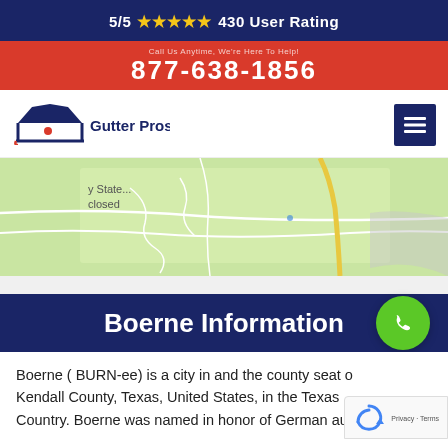5/5 ★★★★★ 430 User Rating
877-638-1856
[Figure (logo): Gutter Pros America logo with house roof icon and red dot]
[Figure (map): Google Maps screenshot showing a green park/state area labeled 'y State... closed']
Boerne Information
Boerne ( BURN-ee) is a city in and the county seat of Kendall County, Texas, United States, in the Texas Country. Boerne was named in honor of German aut...